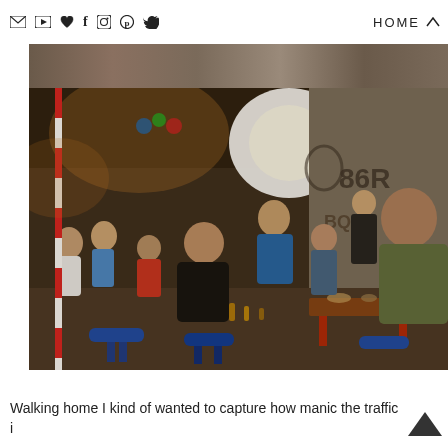HOME
[Figure (photo): Night street food scene in Vietnam with people sitting at low tables on blue stools eating and drinking, graffiti-covered wall in background, bright overhead light]
Walking home I kind of wanted to capture how manic the traffic i...